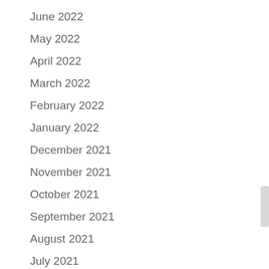June 2022
May 2022
April 2022
March 2022
February 2022
January 2022
December 2021
November 2021
October 2021
September 2021
August 2021
July 2021
June 2021
May 2021
April 2021
March 2021